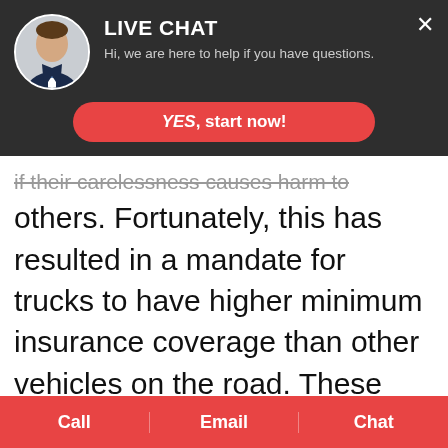[Figure (screenshot): Live chat overlay popup with avatar photo of a man in a suit, title 'LIVE CHAT', subtitle 'Hi, we are here to help if you have questions.', a red 'YES, start now!' button, and a close X button.]
if their carelessness causes harm to others. Fortunately, this has resulted in a mandate for trucks to have higher minimum insurance coverage than other vehicles on the road. These rates vary by vehicle, but every truck over 10,000 pounds must have at least $750,000 in insurance coverage for its injury victims. Additionally, a truck
[Figure (screenshot): Bottom navigation bar with three red buttons: Call, Email, Chat]